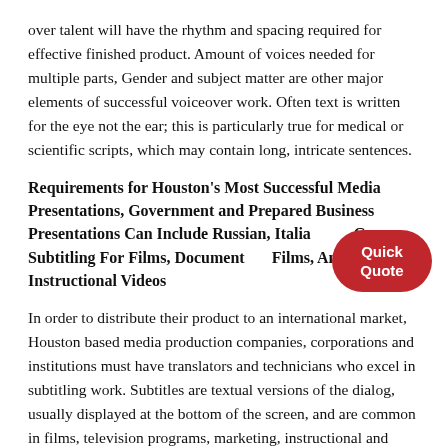over talent will have the rhythm and spacing required for effective finished product. Amount of voices needed for multiple parts, Gender and subject matter are other major elements of successful voiceover work. Often text is written for the eye not the ear; this is particularly true for medical or scientific scripts, which may contain long, intricate sentences.
Requirements for Houston's Most Successful Media Presentations, Government and Prepared Business Presentations Can Include Russian, Italian and German Subtitling For Films, Documentary Films, Animations, Instructional Videos
In order to distribute their product to an international market, Houston based media production companies, corporations and institutions must have translators and technicians who excel in subtitling work. Subtitles are textual versions of the dialog, usually displayed at the bottom of the screen, and are common in films, television programs, marketing, instructional and educational material that are distributed or shown to a foreign market. Subtitles are requested in many different languages including common European dialects such as